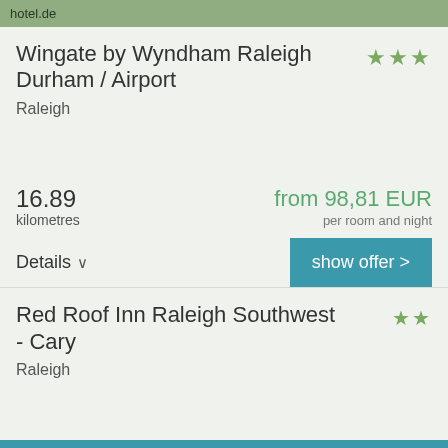hotel.de
Wingate by Wyndham Raleigh Durham / Airport
Raleigh
16.89
kilometres
from 98,81 EUR
per room and night
Details
show offer >
Red Roof Inn Raleigh Southwest - Cary
Raleigh
16.43
kilometres
from 80,29 EUR
per room and night